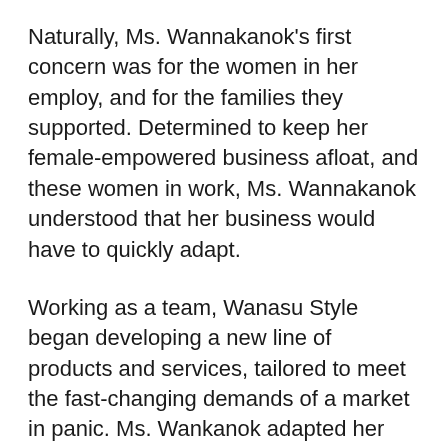Naturally, Ms. Wannakanok's first concern was for the women in her employ, and for the families they supported. Determined to keep her female-empowered business afloat, and these women in work, Ms. Wannakanok understood that her business would have to quickly adapt.
Working as a team, Wanasu Style began developing a new line of products and services, tailored to meet the fast-changing demands of a market in panic. Ms. Wankanok adapted her products to suit the emerging minimalist trend and began offering customization options, too, which proved especially popular with large companies and corporations. In further response to the pandemic, Wanasu Style expanded its product range to include face masks. As Ms. Wannakanok explains: “Everyone already had their sewing skills, and the masks were really